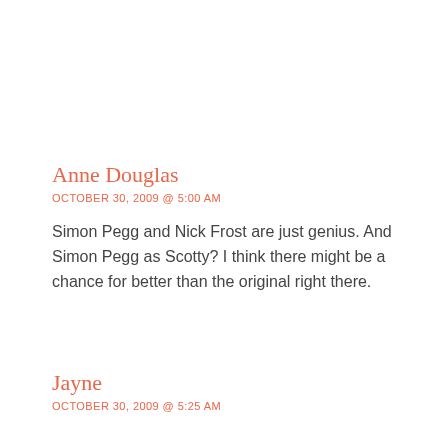Anne Douglas
OCTOBER 30, 2009 @ 5:00 AM
Simon Pegg and Nick Frost are just genius. And Simon Pegg as Scotty? I think there might be a chance for better than the original right there.
Jayne
OCTOBER 30, 2009 @ 5:25 AM